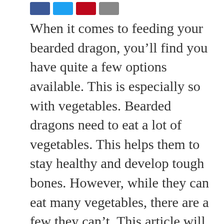[Figure (other): Social share buttons: Facebook (blue), Twitter (light blue), Pinterest (red), Email/Share (gray)]
When it comes to feeding your bearded dragon, you'll find you have quite a few options available. This is especially so with vegetables. Bearded dragons need to eat a lot of vegetables. This helps them to stay healthy and develop tough bones. However, while they can eat many vegetables, there are a few they can't. This article will explore more behind why vegetables are an important diet staple and some of the best choices to feed your bearded dragon.